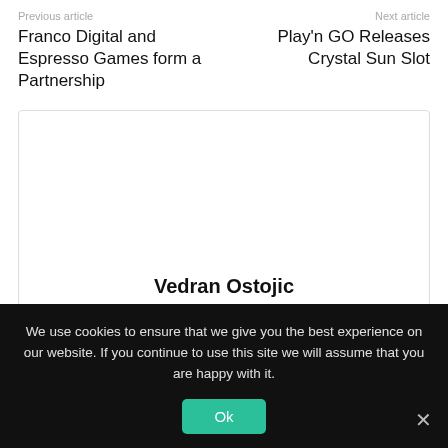Previous article
Franco Digital and Espresso Games form a Partnership
Next article
Play'n GO Releases Crystal Sun Slot
Vedran Ostojic
http://www.gamblersnews.com
We use cookies to ensure that we give you the best experience on our website. If you continue to use this site we will assume that you are happy with it.